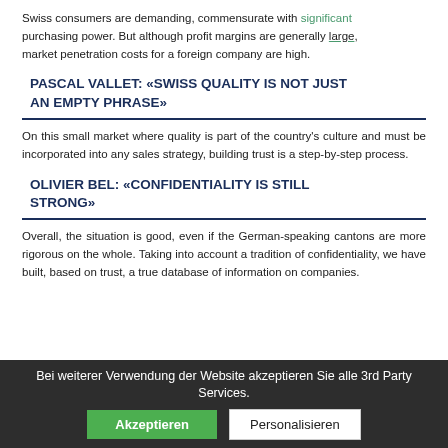Swiss consumers are demanding, commensurate with significant purchasing power. But although profit margins are generally large, market penetration costs for a foreign company are high.
PASCAL VALLET: «SWISS QUALITY IS NOT JUST AN EMPTY PHRASE»
On this small market where quality is part of the country's culture and must be incorporated into any sales strategy, building trust is a step-by-step process.
OLIVIER BEL: «CONFIDENTIALITY IS STILL STRONG»
Overall, the situation is good, even if the German-speaking cantons are more rigorous on the whole. Taking into account a tradition of confidentiality, we have built, based on trust, a true database of information on companies.
Bei weiterer Verwendung der Website akzeptieren Sie alle 3rd Party Services. [Akzeptieren] [Personalisieren]